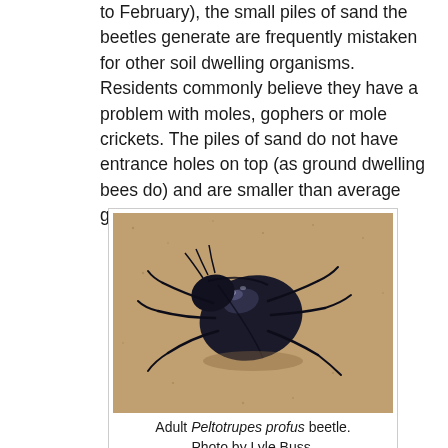to February), the small piles of sand the beetles generate are frequently mistaken for other soil dwelling organisms. Residents commonly believe they have a problem with moles, gophers or mole crickets. The piles of sand do not have entrance holes on top (as ground dwelling bees do) and are smaller than average gopher sand piles.
[Figure (photo): A dark/black Peltotrupes profus beetle resting on sandy soil, photographed from above at a slight angle showing its shiny rounded body and legs.]
Adult Peltotrupes profus beetle. Photo by Lyle Buss.